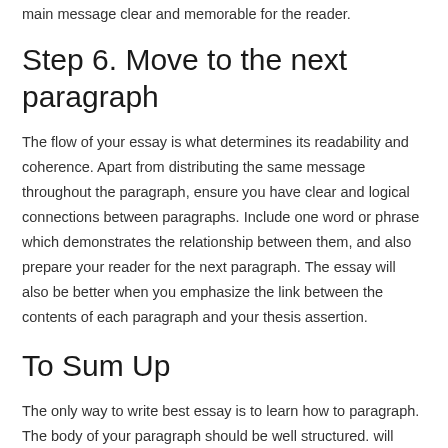main message clear and memorable for the reader.
Step 6. Move to the next paragraph
The flow of your essay is what determines its readability and coherence. Apart from distributing the same message throughout the paragraph, ensure you have clear and logical connections between paragraphs. Include one word or phrase which demonstrates the relationship between them, and also prepare your reader for the next paragraph. The essay will also be better when you emphasize the link between the contents of each paragraph and your thesis assertion.
To Sum Up
The only way to write best essay is to learn how to paragraph. The body of your paragraph should be well structured. will allow you to express your thoughts and stay organized. It should contain the topic sentence, any relevant evidence, an explanation, and an end